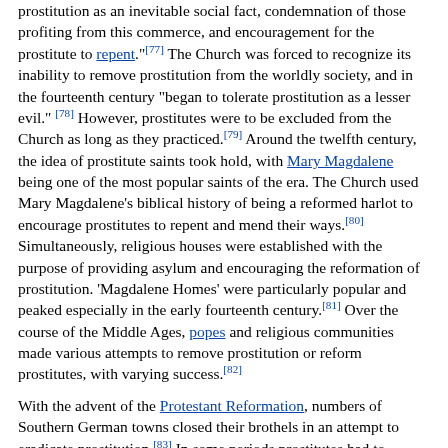prostitution as an inevitable social fact, condemnation of those profiting from this commerce, and encouragement for the prostitute to repent."[77] The Church was forced to recognize its inability to remove prostitution from the worldly society, and in the fourteenth century "began to tolerate prostitution as a lesser evil." [78] However, prostitutes were to be excluded from the Church as long as they practiced.[79] Around the twelfth century, the idea of prostitute saints took hold, with Mary Magdalene being one of the most popular saints of the era. The Church used Mary Magdalene's biblical history of being a reformed harlot to encourage prostitutes to repent and mend their ways.[80] Simultaneously, religious houses were established with the purpose of providing asylum and encouraging the reformation of prostitution. 'Magdalene Homes' were particularly popular and peaked especially in the early fourteenth century.[81] Over the course of the Middle Ages, popes and religious communities made various attempts to remove prostitution or reform prostitutes, with varying success.[82]

With the advent of the Protestant Reformation, numbers of Southern German towns closed their brothels in an attempt to eradicate prostitution.[83] In some periods prostitutes had to distinguish themselves by particular signs, sometimes wearing very short hair or no hair at all, or wearing veils in societies where other